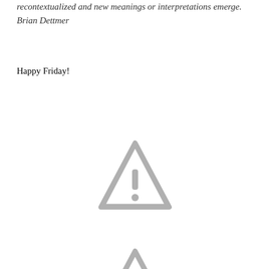recontextualized and new meanings or interpretations emerge. Brian Dettmer
Happy Friday!
[Figure (illustration): A grey warning triangle with an exclamation mark icon]
[Figure (illustration): A partial grey warning triangle with an exclamation mark icon, partially visible at bottom of page]